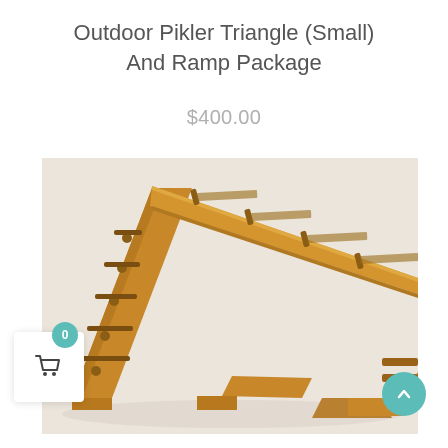Outdoor Pikler Triangle (Small) And Ramp Package
$400.00
[Figure (photo): Wooden Pikler triangle climbing frame with ramp attached, photographed on a white background. The wooden structure is natural light brown with dowel rungs, with a flat ramp board extending diagonally.]